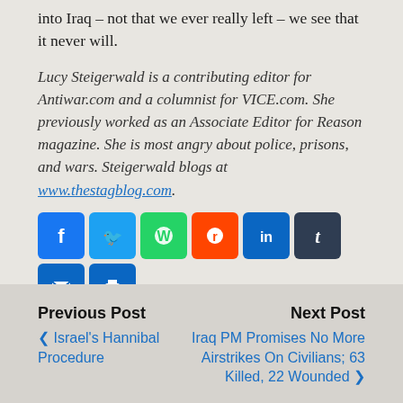into Iraq – not that we ever really left – we see that it never will.
Lucy Steigerwald is a contributing editor for Antiwar.com and a columnist for VICE.com. She previously worked as an Associate Editor for Reason magazine. She is most angry about police, prisons, and wars. Steigerwald blogs at www.thestagblog.com.
[Figure (infographic): Social sharing buttons: Facebook, Twitter, WhatsApp, Reddit, LinkedIn, Tumblr, Email, Print icons in a row, followed by a Like button, Tweet button, and Share (+) button]
Previous Post | Israel's Hannibal Procedure || Next Post | Iraq PM Promises No More Airstrikes On Civilians; 63 Killed, 22 Wounded